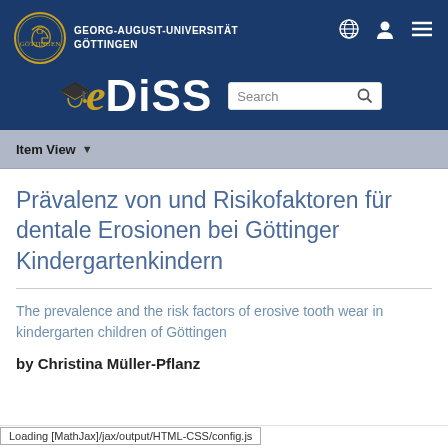GEORG-AUGUST-UNIVERSITÄT GÖTTINGEN — eDiss — Georg-August-Universität Göttingen university repository website header
Item View
Prävalenz von und Risikofaktoren für dentale Erosionen bei Göttinger Kindergartenkindern
The prevalence and the risk factors of erosive tooth wear in kindergarten children of Göttingen
by Christina Müller-Pflanz
Loading [MathJax]/jax/output/HTML-CSS/config.js